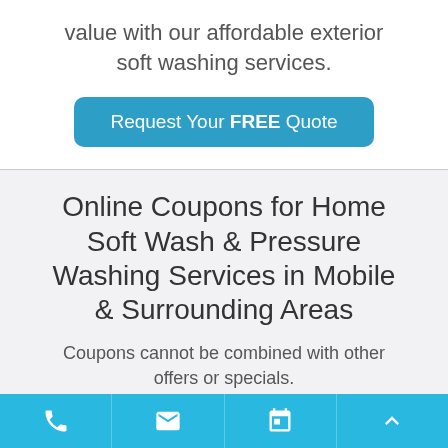value with our affordable exterior soft washing services.
Request Your FREE Quote
Online Coupons for Home Soft Wash & Pressure Washing Services in Mobile & Surrounding Areas
Coupons cannot be combined with other offers or specials.
[Figure (screenshot): Bottom navigation bar with phone, email, calendar, and up-arrow icons on a blue background]